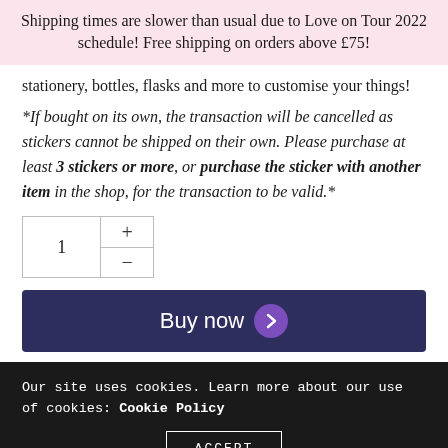Shipping times are slower than usual due to Love on Tour 2022 schedule! Free shipping on orders above £75!
stationery, bottles, flasks and more to customise your things!
*If bought on its own, the transaction will be cancelled as stickers cannot be shipped on their own. Please purchase at least 3 stickers or more, or purchase the sticker with another item in the shop, for the transaction to be valid.*
Buy now
Our site uses cookies. Learn more about our use of cookies: Cookie Policy
ACCEPT